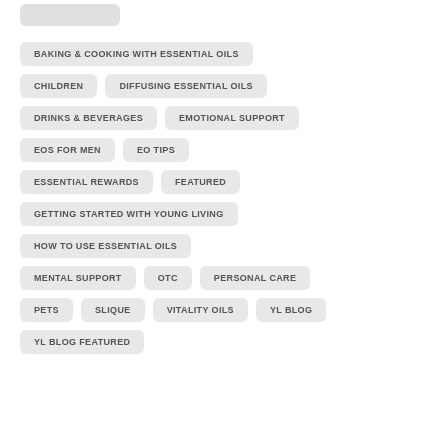BAKING & COOKING WITH ESSENTIAL OILS
CHILDREN
DIFFUSING ESSENTIAL OILS
DRINKS & BEVERAGES
EMOTIONAL SUPPORT
EOS FOR MEN
EO TIPS
ESSENTIAL REWARDS
FEATURED
GETTING STARTED WITH YOUNG LIVING
HOW TO USE ESSENTIAL OILS
MENTAL SUPPORT
OTC
PERSONAL CARE
PETS
SLIQUE
VITALITY OILS
YL BLOG
YL BLOG FEATURED